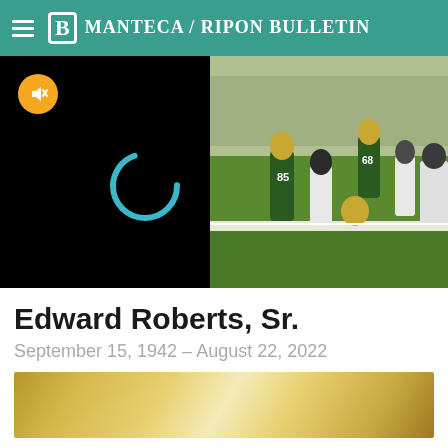Manteca / Ripon Bulletin
[Figure (screenshot): News website video player showing a Green Bay Packers football game sideline scene. Left half shows black video player with mute button (orange circle with mute icon) and loading spinner (teal arc). Right half shows players in green and yellow uniforms on sideline, jersey number 85 visible, player number 68 in background, crowd in stands.]
Edward Roberts, Sr.
September 15, 1942 – August 22, 2022
[Figure (illustration): Bottom portion of a gold/yellow gradient decorative banner, partially visible.]